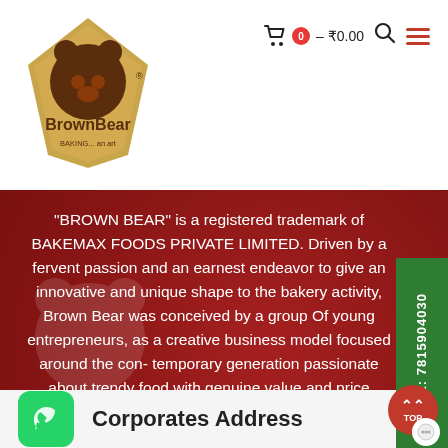[Figure (logo): BrownBear baking logo - brown bear shape with orange/brown diamond polygon background, text 'BrownBear' and 'BAKING... an art']
0 – ₹0.00
“BROWN BEAR” is a registered trademark of BAKEMAX FOODS PRIVATE LIMITED. Driven by a fervent passion and an earnest endeavor to give an innovative and unique shape to the bakery activity, Brown Bear was conceived by a group Of young entrepreneurs, as a creative business model focused around the con- temporary generation passionate about trendy food with genuine value and price sensitivity.
Corporates Address